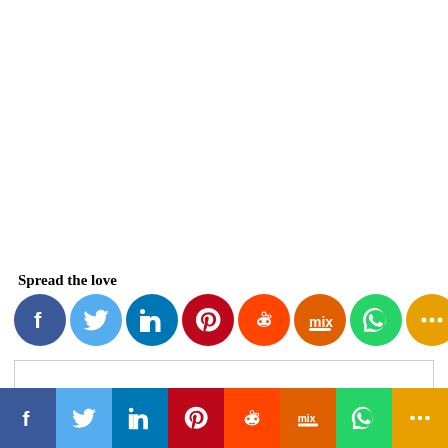Spread the love
[Figure (infographic): Row of social media share icon circles: Facebook (blue), Twitter (light blue), LinkedIn (dark blue), Pinterest (red), Reddit (orange-red), Mix (orange), WhatsApp (green), More/Plus (amber)]
[Figure (other): Empty comment/text input box with light grey border]
[Figure (infographic): Bottom bar with social media share buttons: Facebook (dark blue), Twitter (light blue), LinkedIn (dark blue), Pinterest (red), Reddit (orange-red), Mix (orange), WhatsApp (green), More/Plus (amber)]